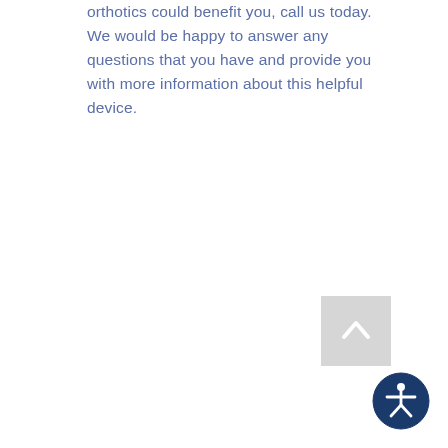orthotics could benefit you, call us today. We would be happy to answer any questions that you have and provide you with more information about this helpful device.
[Figure (other): Back to top arrow button - a light grey square with an upward-pointing chevron/caret arrow in white]
[Figure (other): Accessibility icon - dark navy blue circular button with white person/human figure with arms outstretched (wheelchair accessibility symbol)]